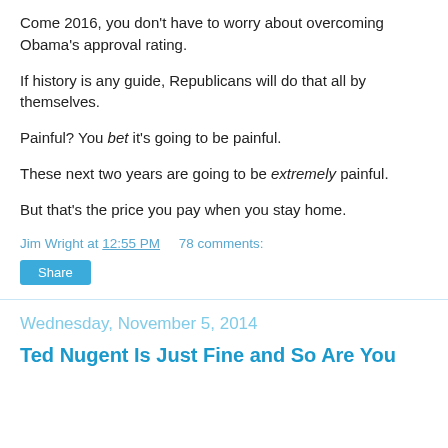Come 2016, you don't have to worry about overcoming Obama's approval rating.
If history is any guide, Republicans will do that all by themselves.
Painful? You bet it's going to be painful.
These next two years are going to be extremely painful.
But that's the price you pay when you stay home.
Jim Wright at 12:55 PM    78 comments:
Share
Wednesday, November 5, 2014
Ted Nugent Is Just Fine and So Are You